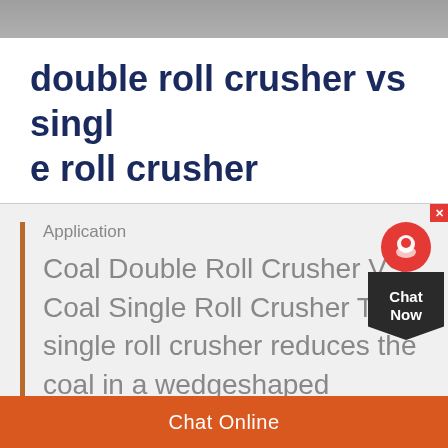[Figure (photo): Top banner image showing a gray textured surface, likely industrial equipment]
double roll crusher vs single roll crusher
Application
Coal Double Roll Crusher VS Coal Single Roll Crusher The single roll crusher reduces the coal in a wedgeshaped crushing area by means of pressure and shearing
Chat Online